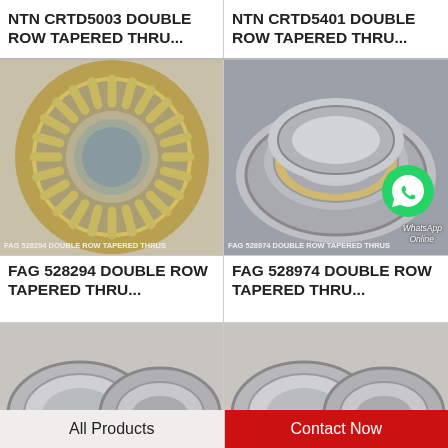NTN CRTD5003 DOUBLE ROW TAPERED THRU...
NTN CRTD5401 DOUBLE ROW TAPERED THRU...
[Figure (photo): FAG 528294 double row tapered thrust bearing, circular cage with rollers, gold/silver metallic]
[Figure (photo): FAG 528974 double row tapered thrust bearing, silver metallic rings stacked, with WhatsApp icon overlay]
FAG 528294 DOUBLE ROW TAPERED THRU...
FAG 528974 DOUBLE ROW TAPERED THRU...
[Figure (photo): Partial view of tapered thrust bearing, silver metallic, two disc rings visible]
[Figure (photo): Partial view of tapered thrust bearing, silver metallic, two disc rings visible]
All Products
Contact Now